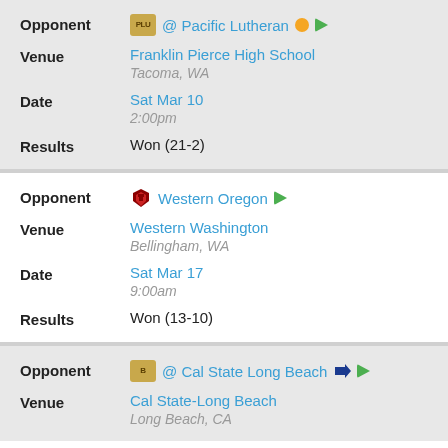| Field | Value |
| --- | --- |
| Opponent | @ Pacific Lutheran |
| Venue | Franklin Pierce High School, Tacoma, WA |
| Date | Sat Mar 10, 2:00pm |
| Results | Won (21-2) |
| Field | Value |
| --- | --- |
| Opponent | Western Oregon |
| Venue | Western Washington, Bellingham, WA |
| Date | Sat Mar 17, 9:00am |
| Results | Won (13-10) |
| Field | Value |
| --- | --- |
| Opponent | @ Cal State Long Beach |
| Venue | Cal State-Long Beach, Long Beach, CA |